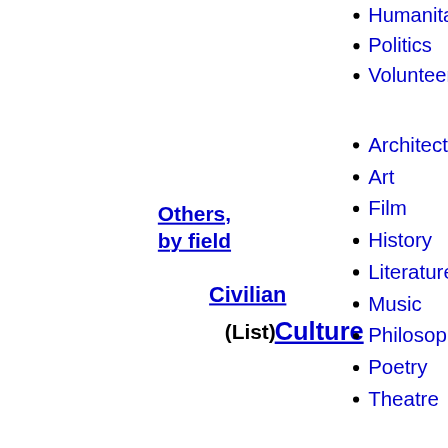Politics
Volunteer
Others, by field
Civilian
(List)
Culture
Architecture
Art
Film
History
Literature
Music
Philosophy
Poetry
Theatre
Science
Religion-related
Ecclesiastical
Sports
Scouting
Beauty
Collar
Grand Cross/G... Cordon
with sash...